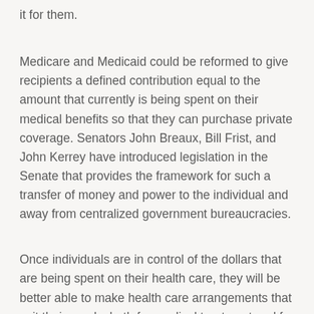it for them.
Medicare and Medicaid could be reformed to give recipients a defined contribution equal to the amount that currently is being spent on their medical benefits so that they can purchase private coverage. Senators John Breaux, Bill Frist, and John Kerrey have introduced legislation in the Senate that provides the framework for such a transfer of money and power to the individual and away from centralized government bureaucracies.
Once individuals are in control of the dollars that are being spent on their health care, they will be better able to make health care arrangements that suit their needs, both for medical treatment and for protection of their